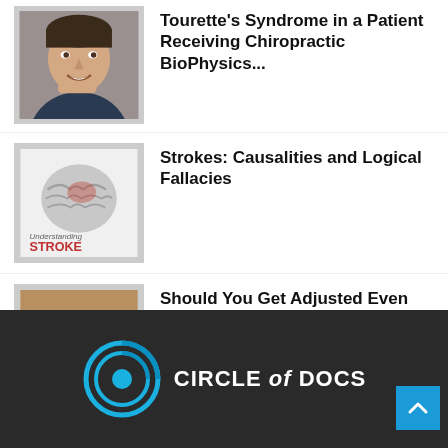Positive Outcomes with Tourette's Syndrome in a Patient Receiving Chiropractic BioPhysics...
[Figure (photo): Young man smiling, portrait photo]
Strokes: Causalities and Logical Fallacies
[Figure (photo): Brain illustration with text 'Understanding STROKE']
Should You Get Adjusted Even After the Pain is Gone?
[Figure (photo): Chiropractor adjusting a patient lying on a table]
CIRCLE of DOCS